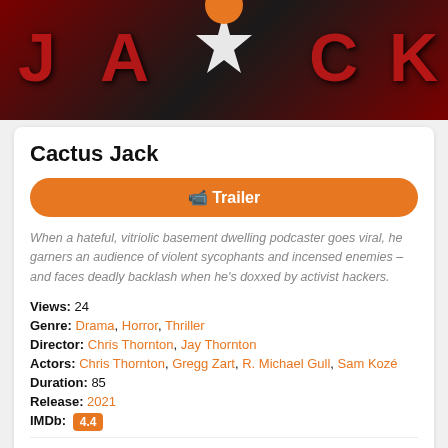[Figure (photo): Movie banner image for Cactus Jack showing large red letters on dark background with a white star shape and orange circle logo at top center]
Cactus Jack
Trailer button
When a hateful, vitriolic basement dwelling podcaster goes viral, he garners an audience of violent sycophants and incensed enemies – and faces deadly backlash when he's doxxed by activist hackers.
Views: 24
Genre: Drama, Horror, Thriller
Director: Chris Thornton, Jay Thornton
Actors: Chris Thornton, Gregg Zart, R. Michael Gull, Sam Kozé
Duration: 85
Release: 2021
IMDb: 4.4
Keywords: #Cactus Jack
You May Also Like